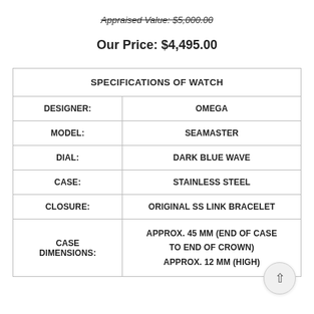Appraised Value: $5,000.00
Our Price: $4,495.00
| SPECIFICATIONS OF WATCH |
| --- |
| DESIGNER: | OMEGA |
| MODEL: | SEAMASTER |
| DIAL: | DARK BLUE WAVE |
| CASE: | STAINLESS STEEL |
| CLOSURE: | ORIGINAL SS LINK BRACELET |
| CASE DIMENSIONS: | APPROX. 45 MM (END OF CASE TO END OF CROWN)
APPROX. 12 MM (HIGH) |